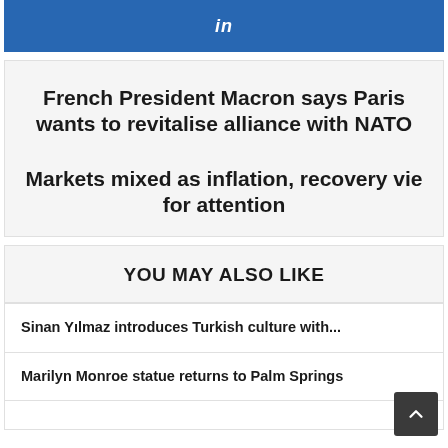[Figure (logo): LinkedIn share button - blue bar with 'in' logo text in white]
French President Macron says Paris wants to revitalise alliance with NATO
Markets mixed as inflation, recovery vie for attention
YOU MAY ALSO LIKE
Sinan Yılmaz introduces Turkish culture with...
Marilyn Monroe statue returns to Palm Springs